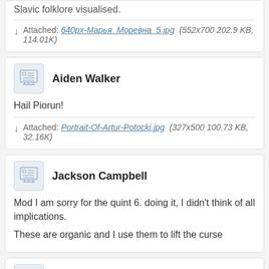Slavic folklore visualised.
Attached: 640px-Марья_Моревна_5.jpg (552x700 202.9 KB, 114.01K)
Aiden Walker
Hail Piorun!
Attached: Portrait-Of-Artur-Potocki.jpg (327x500 100.73 KB, 32.16K)
Jackson Campbell
Mod I am sorry for the quint 6. doing it, I didn't think of all implications.
These are organic and I use them to lift the curse
Adrian Smith